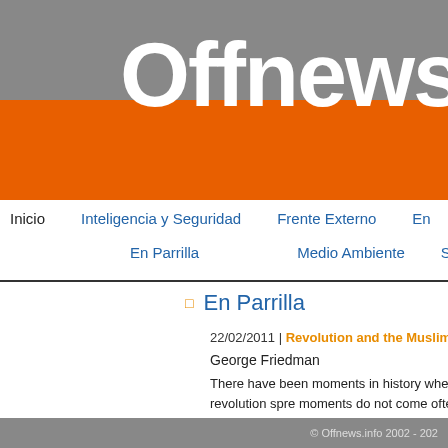Offnews.in
Inicio | Inteligencia y Seguridad | Frente Externo | En | En Parrilla | Medio Ambiente | So
En Parrilla
22/02/2011 | Revolution and the Muslim World
George Friedman
The Muslim world, from North Africa to Iran, has experiend been overthrown yet, although as of this writing, Libya was
There have been moments in history where revolution spre moments do not come often. Those that come to mind incl
© Offnews.info 2002 - 202